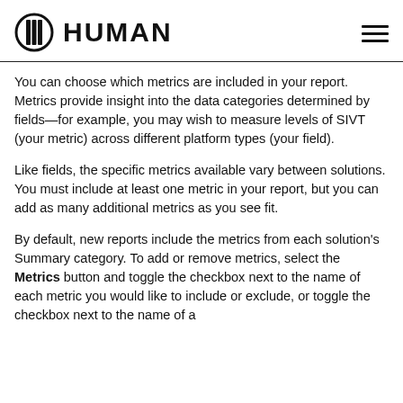HUMAN
You can choose which metrics are included in your report. Metrics provide insight into the data categories determined by fields—for example, you may wish to measure levels of SIVT (your metric) across different platform types (your field).
Like fields, the specific metrics available vary between solutions. You must include at least one metric in your report, but you can add as many additional metrics as you see fit.
By default, new reports include the metrics from each solution's Summary category. To add or remove metrics, select the Metrics button and toggle the checkbox next to the name of each metric you would like to include or exclude, or toggle the checkbox next to the name of a